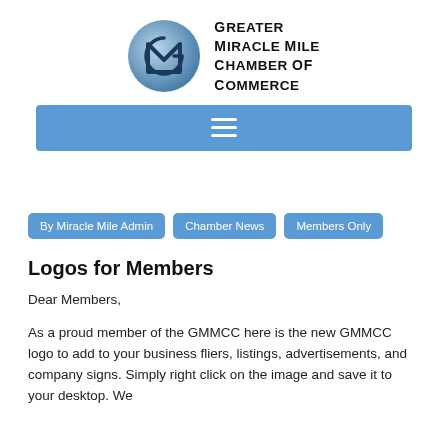[Figure (logo): Greater Miracle Mile Chamber of Commerce logo: circular blue emblem with stylized M and G letters, next to bold text reading 'Greater Miracle Mile Chamber of Commerce']
[Figure (screenshot): Blue navigation bar with white hamburger menu icon (three horizontal lines)]
By Miracle Mile Admin
Chamber News
Members Only
Logos for Members
Dear Members,
As a proud member of the GMMCC here is the new GMMCC logo to add to your business fliers, listings, advertisements, and company signs. Simply right click on the image and save it to your desktop. We